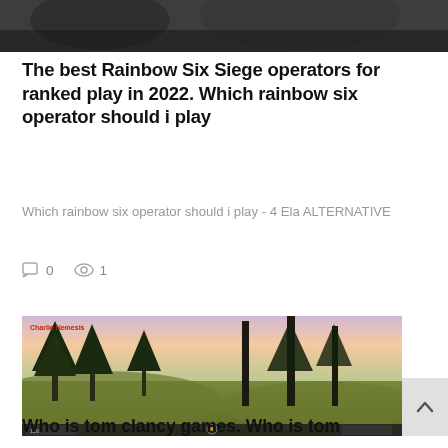[Figure (screenshot): Dark/grey top image cropped at top of page, showing blurry dark scene from a video game]
The best Rainbow Six Siege operators for ranked play in 2022. Which rainbow six operator should i play
Which rainbow six operator should i play - 4 Ela ALTERNATIVE
0   1
[Figure (screenshot): Screenshot of a first-person shooter video game showing a forest scene with pine trees and a pastel sunset sky. Red enemy indicator text visible in top-left. UI elements visible at bottom including ammo count and compass. Yellow dot sight in center bottom.]
Who is tom clancy games. Who is tom